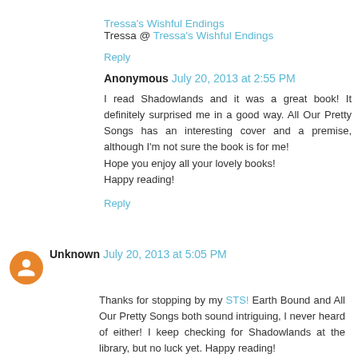Tressa @ Tressa's Wishful Endings
Reply
Anonymous  July 20, 2013 at 2:55 PM
I read Shadowlands and it was a great book! It definitely surprised me in a good way. All Our Pretty Songs has an interesting cover and a premise, although I'm not sure the book is for me!
Hope you enjoy all your lovely books!
Happy reading!
Reply
Unknown  July 20, 2013 at 5:05 PM
Thanks for stopping by my STS! Earth Bound and All Our Pretty Songs both sound intriguing, I never heard of either! I keep checking for Shadowlands at the library, but no luck yet. Happy reading!